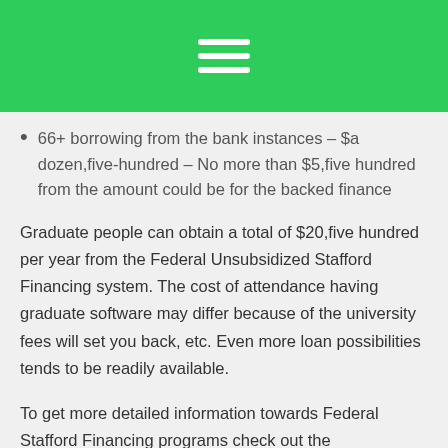☰
66+ borrowing from the bank instances – $a dozen,five-hundred – No more than $5,five hundred from the amount could be for the backed finance
Graduate people can obtain a total of $20,five hundred per year from the Federal Unsubsidized Stafford Financing system. The cost of attendance having graduate software may differ because of the university fees will set you back, etc. Even more loan possibilities tends to be readily available.
To get more detailed information towards Federal Stafford Financing programs check out the https://worldpaydayloans.com/payday-loans-